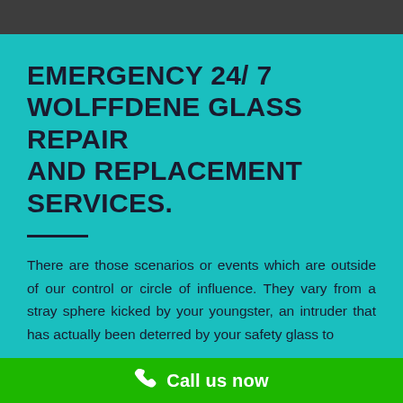EMERGENCY 24/ 7 WOLFFDENE GLASS REPAIR AND REPLACEMENT SERVICES.
There are those scenarios or events which are outside of our control or circle of influence. They vary from a stray sphere kicked by your youngster, an intruder that has actually been deterred by your safety glass to
Call us now